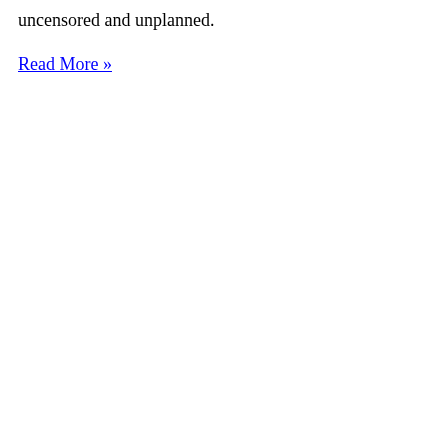uncensored and unplanned.
Read More »